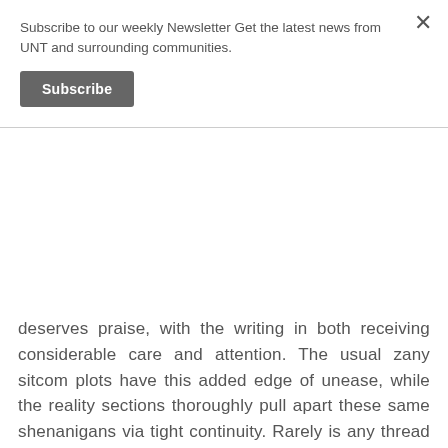Subscribe to our weekly Newsletter Get the latest news from UNT and surrounding communities.
Subscribe
deserves praise, with the writing in both receiving considerable care and attention. The usual zany sitcom plots have this added edge of unease, while the reality sections thoroughly pull apart these same shenanigans via tight continuity. Rarely is any thread fully tied off at the end of an episode — Kevin's actions continue to haunt Allison from one setting to the next. The mistakes, pain and consequences all build.
The sitcom itself also revels in little details, highlighted in the stock canned laughter. Not